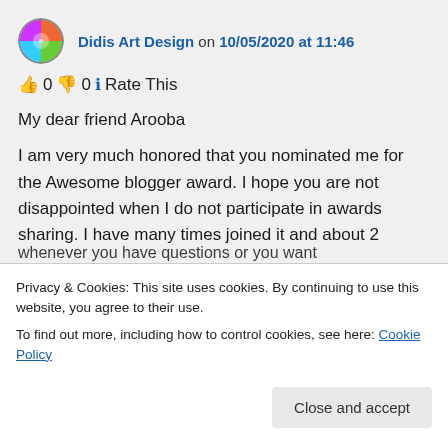Didis Art Design on 10/05/2020 at 11:46
👍 0 👎 0 ℹ Rate This
My dear friend Arooba

I am very much honored that you nominated me for the Awesome blogger award. I hope you are not disappointed when I do not participate in awards sharing. I have many times joined it and about 2
Privacy & Cookies: This site uses cookies. By continuing to use this website, you agree to their use.
To find out more, including how to control cookies, see here: Cookie Policy
Close and accept
whenever you have questions or you want